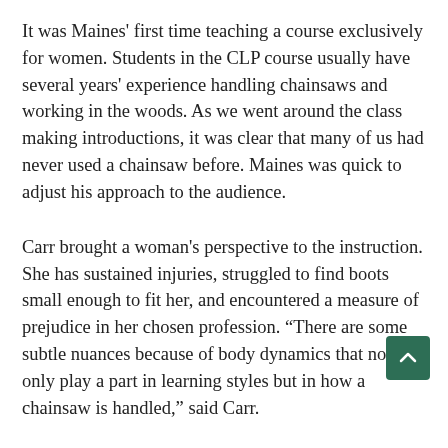It was Maines' first time teaching a course exclusively for women. Students in the CLP course usually have several years' experience handling chainsaws and working in the woods. As we went around the class making introductions, it was clear that many of us had never used a chainsaw before. Maines was quick to adjust his approach to the audience.
Carr brought a woman's perspective to the instruction. She has sustained injuries, struggled to find boots small enough to fit her, and encountered a measure of prejudice in her chosen profession. “There are some subtle nuances because of body dynamics that not only play a part in learning styles but in how a chainsaw is handled,” said Carr.
One participant said, “I came because I had an interest and a need and because all of the participants and one of the instructors were women.”